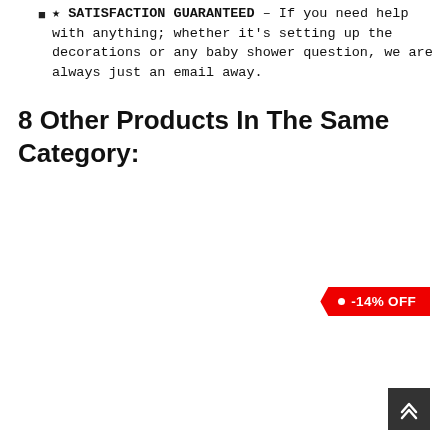★ SATISFACTION GUARANTEED – If you need help with anything; whether it's setting up the decorations or any baby shower question, we are always just an email away.
8 Other Products In The Same Category:
[Figure (other): Red price tag badge showing -14% OFF discount label]
[Figure (other): Dark grey back-to-top button with upward chevron arrow]